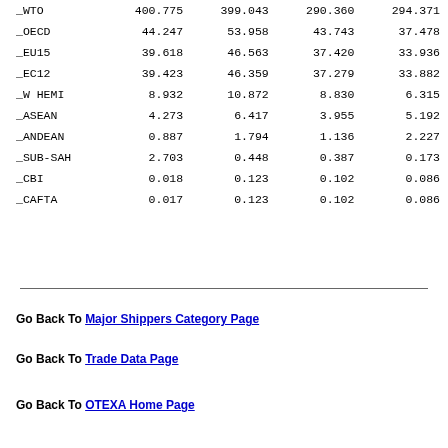|  | Col1 | Col2 | Col3 | Col4 |
| --- | --- | --- | --- | --- |
| _WTO | 400.775 | 399.043 | 290.360 | 294.371 |
| _OECD | 44.247 | 53.958 | 43.743 | 37.478 |
| _EU15 | 39.618 | 46.563 | 37.420 | 33.936 |
| _EC12 | 39.423 | 46.359 | 37.279 | 33.882 |
| _W HEMI | 8.932 | 10.872 | 8.830 | 6.315 |
| _ASEAN | 4.273 | 6.417 | 3.955 | 5.192 |
| _ANDEAN | 0.887 | 1.794 | 1.136 | 2.227 |
| _SUB-SAH | 2.703 | 0.448 | 0.387 | 0.173 |
| _CBI | 0.018 | 0.123 | 0.102 | 0.086 |
| _CAFTA | 0.017 | 0.123 | 0.102 | 0.086 |
Go Back To Major Shippers Category Page
Go Back To Trade Data Page
Go Back To OTEXA Home Page